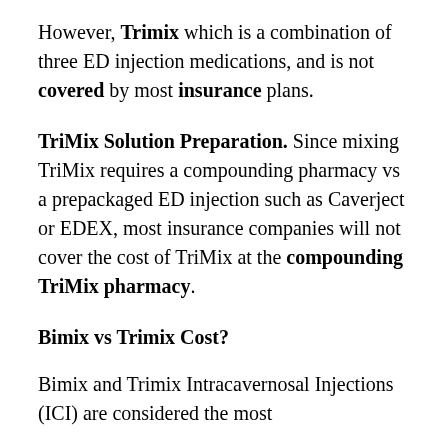However, Trimix which is a combination of three ED injection medications, and is not covered by most insurance plans.
TriMix Solution Preparation. Since mixing TriMix requires a compounding pharmacy vs a prepackaged ED injection such as Caverject or EDEX, most insurance companies will not cover the cost of TriMix at the compounding TriMix pharmacy.
Bimix vs Trimix Cost?
Bimix and Trimix Intracavernosal Injections (ICI) are considered the most